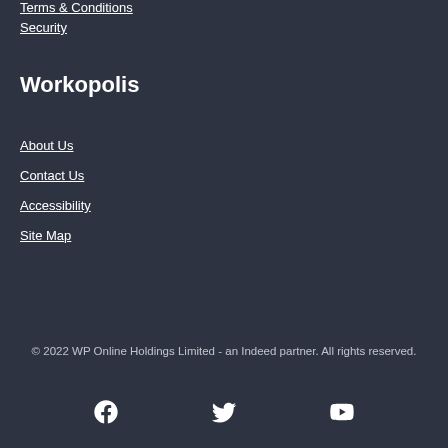Terms & Conditions
Security
Workopolis
About Us
Contact Us
Accessibility
Site Map
© 2022 WP Online Holdings Limited - an Indeed partner. All rights reserved.
[Figure (illustration): Facebook, Twitter, and YouTube social media icons in white on dark background]